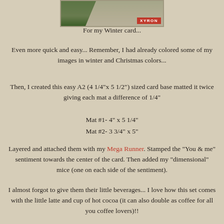[Figure (photo): Partial photo of a winter/Christmas card with pine branches and a Xyron label visible at top]
For my Winter card...
Even more quick and easy... Remember, I had already colored some of my images in winter and Christmas colors...
Then, I created this easy A2 (4 1/4"x 5 1/2") sized card base matted it twice giving each mat a difference of 1/4"
Mat #1- 4" x 5 1/4"
Mat #2- 3 3/4" x 5"
Layered and attached them with my Mega Runner. Stamped the "You & me" sentiment towards the center of the card. Then added my "dimensional" mice (one on each side of the sentiment).
I almost forgot to give them their little beverages... I love how this set comes with the little latte and cup of hot cocoa (it can also double as coffee for all you coffee lovers)!!